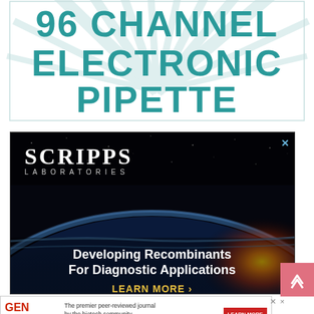[Figure (illustration): 96 Channel Electronic Pipette banner with teal bold text on white background with radial light ray design]
[Figure (illustration): Scripps Laboratories advertisement showing space/earth imagery with text 'Developing Recombinants For Diagnostic Applications' and 'LEARN MORE' button]
[Figure (illustration): GEN Biotechnology bottom banner ad: 'The premier peer-reviewed journal by the biotech community for the biotech community' with Learn More button]